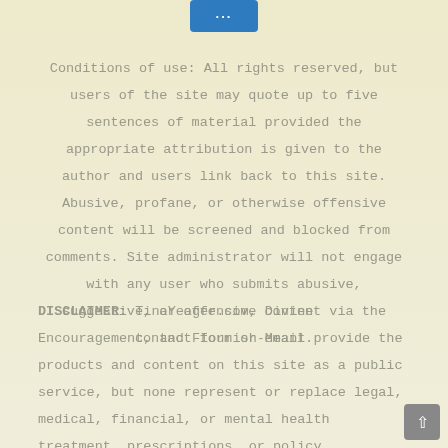[Figure (other): Blue button/icon at top center of page]
Conditions of use: All rights reserved, but users of the site may quote up to five sentences of material provided the appropriate attribution is given to the author and users link back to this site. Abusive, profane, or otherwise offensive content will be screened and blocked from comments. Site administrator will not engage with any user who submits abusive, suggestive, or offensive content via the contact form or email.
DISCLAIMER: TinaYeager.com, Divine Encouragement, and Flourish-Meant provide the products and content on this site as a public service, but none represent or replace legal, medical, financial, or mental health treatment, prescriptions, or policy. Reference to any specific product or